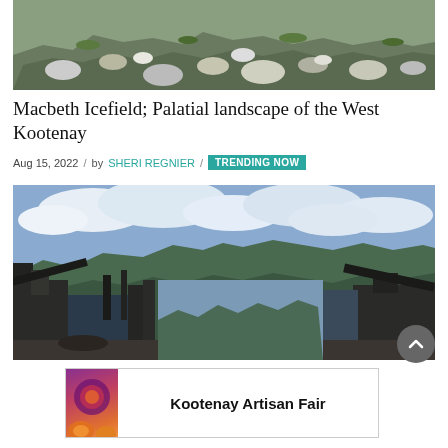[Figure (photo): Rocky mountain landscape with boulders and scree slope, green vegetation visible]
Macbeth Icefield; Palatial landscape of the West Kootenay
Aug 15, 2022 / by SHERI REGNIER / TRENDING NOW
[Figure (photo): View from a ruined burned structure on a mountain summit, panoramic sky with clouds and mountain range in background]
[Figure (other): Kootenay Artisan Fair advertisement banner with decorative elements]